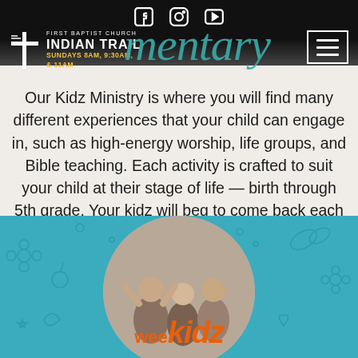First Baptist Church Indian Trail — Sundays 8AM, 9:30AM, & 11AM
Our Kidz Ministry is where you will find many different experiences that your child can engage in, such as high-energy worship, life groups, and Bible teaching. Each activity is crafted to suit your child at their stage of life — birth through 5th grade. Your kidz will beg to come back each week!
[Figure (photo): Wee Kidz logo section with teal background featuring children's doodle pattern and a circular photo of children with 'wee kidz' text overlay in orange]